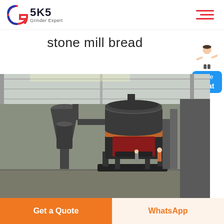SKS Grinder Expert
stone mill bread
[Figure (photo): Industrial stone mill / grinding machine in a factory warehouse. Large dark grey cylindrical grinder with orange accent band, accompanied by dust collector unit, in an industrial shed setting.]
Get a Quote
WhatsApp